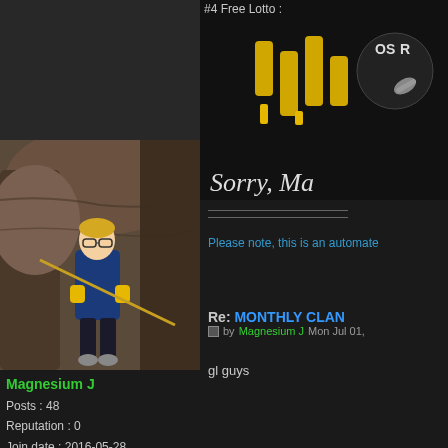[Figure (screenshot): Game banner showing '#4 Free Lotto :' text with yellow coin/chips graphic and 'OSR' logo on dark background, with text 'Sorry, Ma' visible]
Please note, this is an automate
Re: MONTHLY CLAN
by Magnesium J Mon Jul 01,
gl guys
[Figure (photo): Photo of a young person with glasses wearing a blue shirt and yellow gloves, rock climbing or rappelling in a narrow canyon]
Magnesium J
Posts : 48
Reputation : 0
Join date : 2016-05-28